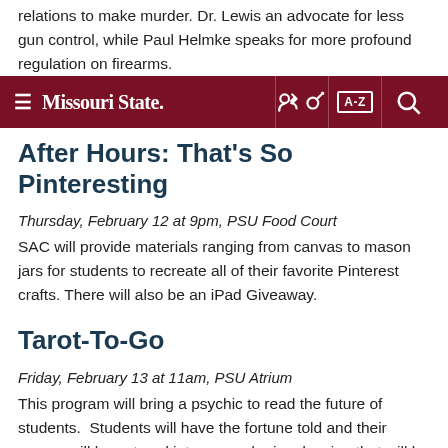relations to make murder. Dr. Lewis an advocate for less gun control, while Paul Helmke speaks for more profound regulation on firearms.
Missouri State [navbar with key, A-Z, search icons]
After Hours: That's So Pinteresting
Thursday, February 12 at 9pm, PSU Food Court
SAC will provide materials ranging from canvas to mason jars for students to recreate all of their favorite Pinterest crafts. There will also be an iPad Giveaway.
Tarot-To-Go
Friday, February 13 at 11am, PSU Atrium
This program will bring a psychic to read the future of students.  Students will have the fortune told and their names will be entered into a grand prize drawing that will be announced at the end of the event. Small prizes will be handed out periodically throughout the event